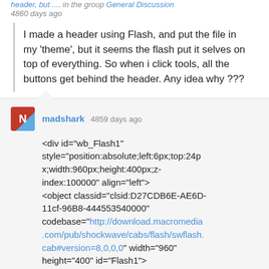header, but .... in the group General Discussion
4860 days ago
I made a header using Flash, and put the file in my 'theme', but it seems the flash put it selves on top of everything. So when i click tools, all the buttons get behind the header. Any idea why ???
madshark 4859 days ago
<div id="wb_Flash1" style="position:absolute;left:6px;top:24px;width:960px;height:400px;z-index:100000" align="left"> <object classid="clsid:D27CDB6E-AE6D-11cf-96B8-444553540000" codebase="http://download.macromedia.com/pub/shockwave/cabs/flash/swflash.cab#version=8,0,0,0" width="960" height="400" id="Flash1"> <param name="movie" value="preview.swf"> <param name="quality" value="High">